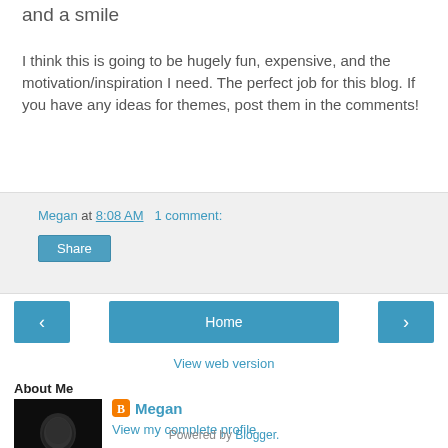and a smile
I think this is going to be hugely fun, expensive, and the motivation/inspiration I need. The perfect job for this blog. If you have any ideas for themes, post them in the comments!
Megan at 8:08 AM   1 comment:
Share
[Figure (screenshot): Navigation bar with left arrow button, Home button, and right arrow button]
View web version
About Me
[Figure (photo): Black and white portrait photo of Megan]
Megan
View my complete profile
Powered by Blogger.